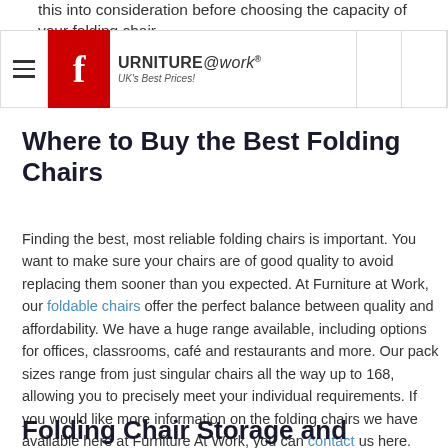this into consideration before choosing the capacity of your folding chair.
[Figure (logo): Furniture@work logo with Facebook icon and tagline UK's Best Prices!]
Where to Buy the Best Folding Chairs
Finding the best, most reliable folding chairs is important. You want to make sure your chairs are of good quality to avoid replacing them sooner than you expected. At Furniture at Work, our foldable chairs offer the perfect balance between quality and affordability. We have a huge range available, including options for offices, classrooms, café and restaurants and more. Our pack sizes range from just singular chairs all the way up to 168, allowing you to precisely meet your individual requirements. If you would like more information on the folding chairs we have available here at Furniture At Work, you can contact us here.
Folding Chair Storage and